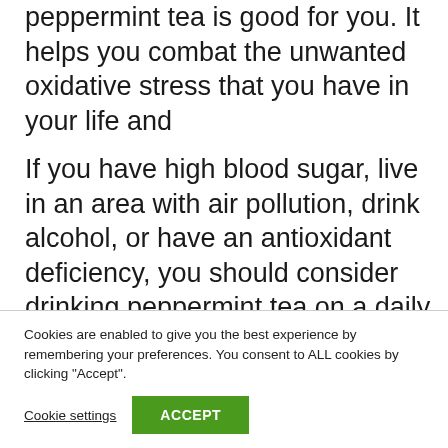peppermint tea is good for you. It helps you combat the unwanted oxidative stress that you have in your life and
If you have high blood sugar, live in an area with air pollution, drink alcohol, or have an antioxidant deficiency, you should consider drinking peppermint tea on a daily basis. It can help you stay away from future health issues and fight the excess oxidative stress in your life.
Cookies are enabled to give you the best experience by remembering your preferences. You consent to ALL cookies by clicking "Accept".
Cookie settings
ACCEPT